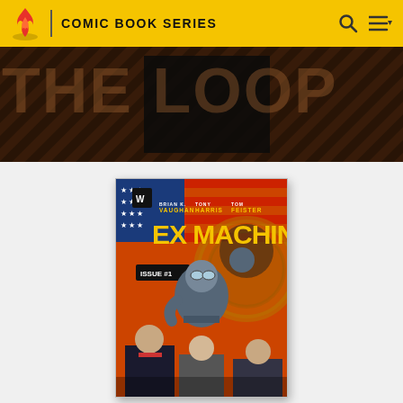COMIC BOOK SERIES
[Figure (screenshot): Website header with flame logo, 'COMIC BOOK SERIES' title, search and menu icons on yellow background]
[Figure (photo): Dark banner with 'THE LOOP' text overlay and diagonal stripe pattern]
[Figure (photo): Ex Machina Issue #1 comic book cover by Brian K. Vaughan, Tony Harris, Tom Feister, showing a costumed superhero with mechanical gear aesthetic against an American flag background, with three figures below]